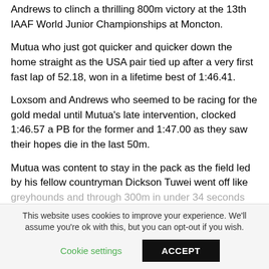Andrews to clinch a thrilling 800m victory at the 13th IAAF World Junior Championships at Moncton.
Mutua who just got quicker and quicker down the home straight as the USA pair tied up after a very first fast lap of 52.18, won in a lifetime best of 1:46.41.
Loxsom and Andrews who seemed to be racing for the gold medal until Mutua's late intervention, clocked 1:46.57 a PB for the former and 1:47.00 as they saw their hopes die in the last 50m.
Mutua was content to stay in the pack as the field led by his fellow countryman Dickson Tuwei went off like greyhounds and through 300m in under 34 seconds
This website uses cookies to improve your experience. We'll assume you're ok with this, but you can opt-out if you wish.
Cookie settings | ACCEPT